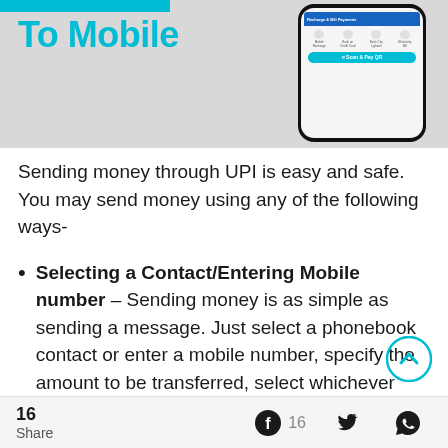[Figure (screenshot): Top banner section showing 'To Mobile' in cyan/teal bold text on a gray background, with a phone mockup on the right showing a UPI payment app interface with Scan & Pay QR button.]
Sending money through UPI is easy and safe. You may send money using any of the following ways-
Selecting a Contact/Entering Mobile number – Sending money is as simple as sending a message. Just select a phonebook contact or enter a mobile number, specify the amount to be transferred, select whichever bank account to pay from and enter your UPI PIN. That's it! Your payment
16 Share  16